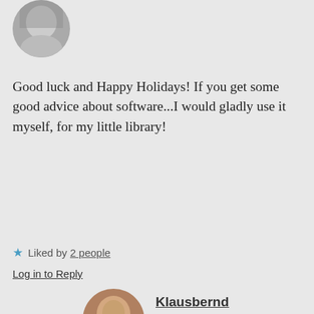[Figure (photo): Black and white avatar photo of commenter, partially visible at top of page, circular crop]
Good luck and Happy Holidays! If you get some good advice about software...I would gladly use it myself, for my little library!
★ Liked by 2 people
Log in to Reply
[Figure (photo): Color photo of Klausbernd, a middle-aged man, circular crop]
Klausbernd
5. April 2015 at 14:14
Dear Leya,
Happy Holidays!
We promise to tell you if we have found an ideal software.
Our Easter was not a egg